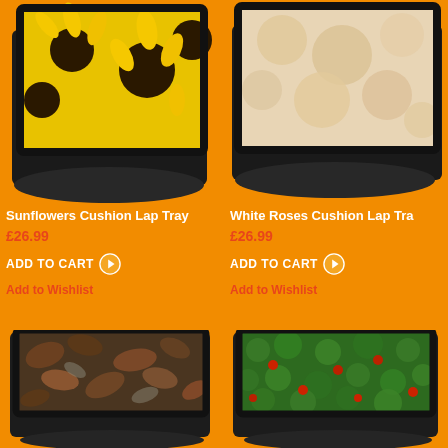[Figure (photo): Sunflowers cushion lap tray product image, partially cropped at top, showing tray with sunflower image on orange background]
Sunflowers Cushion Lap Tray
£26.99
ADD TO CART
Add to Wishlist
[Figure (photo): White Roses cushion lap tray product image, partially cropped at top and right, showing tray with white roses/floral texture on orange background]
White Roses Cushion Lap Tra
£26.99
ADD TO CART
Add to Wishlist
[Figure (photo): Cushion lap tray with autumn leaves / forest floor image, shown on orange background, bottom left]
[Figure (photo): Cushion lap tray with green clover and red berries image, shown on orange background, bottom right]